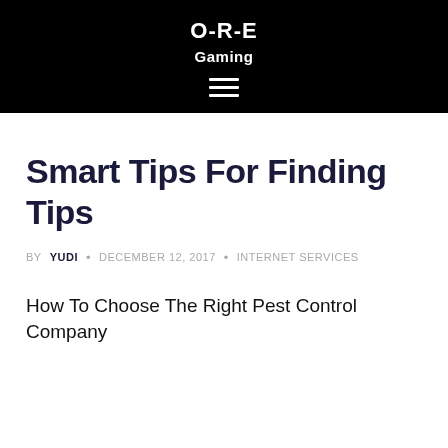O-R-E
Gaming
Smart Tips For Finding Tips
BY YUDI · DECEMBER 12, 2017 · INTERNET SERVICES
How To Choose The Right Pest Control Company